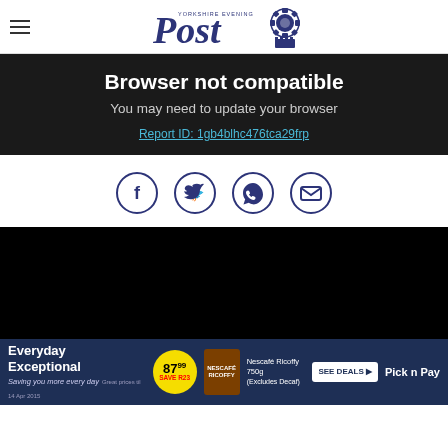[Figure (logo): Yorkshire Evening Post newspaper logo with crown/gear emblem]
Browser not compatible
You may need to update your browser
Report ID: 1gb4blhc476tca29frp
[Figure (infographic): Social sharing icons: Facebook, Twitter, WhatsApp, Email - dark blue circles]
[Figure (other): Black video player area]
[Figure (other): Pick n Pay advertisement banner: Everyday Exceptional, 87.99, Nescafe Ricoffy 750g]